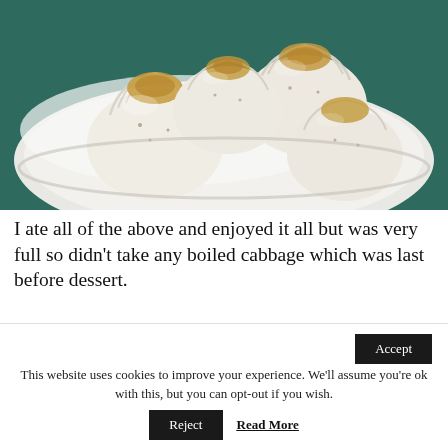[Figure (photo): Close-up photo of white steamed dumplings (siu mai or similar dim sum) with golden-brown tops, sesame seeds, on a white plate with a teal/dark background.]
I ate all of the above and enjoyed it all but was very full so didn't take any boiled cabbage which was last before dessert.
This website uses cookies to improve your experience. We'll assume you're ok with this, but you can opt-out if you wish. Accept Reject Read More